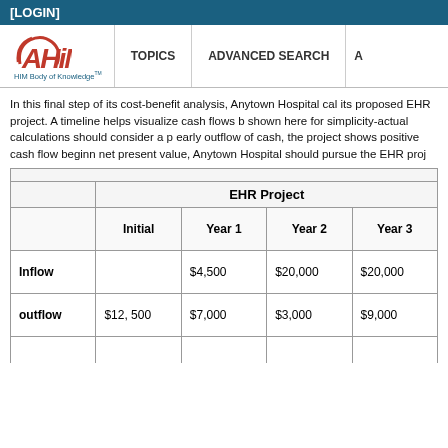[LOGIN]
[Figure (logo): AHIMA HIM Body of Knowledge logo with navigation items: TOPICS, ADVANCED SEARCH]
In this final step of its cost-benefit analysis, Anytown Hospital cal... its proposed EHR project. A timeline helps visualize cash flows b... shown here for simplicity-actual calculations should consider a p... early outflow of cash, the project shows positive cash flow beginn... net present value, Anytown Hospital should pursue the EHR proj...
|  | Initial | Year 1 | Year 2 | Year 3 |
| --- | --- | --- | --- | --- |
| Inflow |  | $4,500 | $20,000 | $20,000 |
| outflow | $12, 500 | $7,000 | $3,000 | $9,000 |
|  |  |  |  |  |